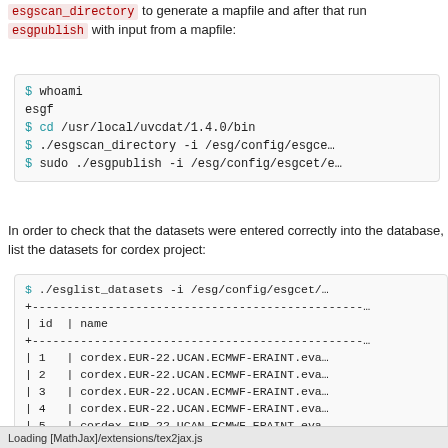esgscan_directory to generate a mapfile and after that run esgpublish with input from a mapfile:
$ whoami
esgf
$ cd /usr/local/uvcdat/1.4.0/bin
$ ./esgscan_directory -i /esg/config/esgce...
$ sudo ./esgpublish -i /esg/config/esgcet/e...
In order to check that the datasets were entered correctly into the database, list the datasets for cordex project:
$ ./esglist_datasets -i /esg/config/esgcet/...
+---...
| id  | name
+---...
| 1   | cordex.EUR-22.UCAN.ECMWF-ERAINT.eva...
| 2   | cordex.EUR-22.UCAN.ECMWF-ERAINT.eva...
| 3   | cordex.EUR-22.UCAN.ECMWF-ERAINT.eva...
| 4   | cordex.EUR-22.UCAN.ECMWF-ERAINT.eva...
| 5   | cordex.EUR-22.UCAN.ECMWF-ERAINT.eva...
| 6   | cordex.EUR-22.UCAN.ECMWF-ERAINT.eva...
| 7   | cordex.EUR-22.UCAN.ECMWF-ERAINT.eva...
| 8   | cordex.EUR-22.UCAN.ECMWF-ERAINT.eva...
| 9   | cordex.EUR-22.UCAN.ECMWF-ERAINT.eva...
| 10  | cordex.EUR-22.UCAN.ECMWF-ERAINT.eva...
| 11  | cordex.EUR-22.UCAN.ECMWF-ERAINT.eva...
| 12  | cordex.EUR-22.UCAN.ECMWF-ERAINT.eva...
...
Loading [MathJax]/extensions/tex2jax.js